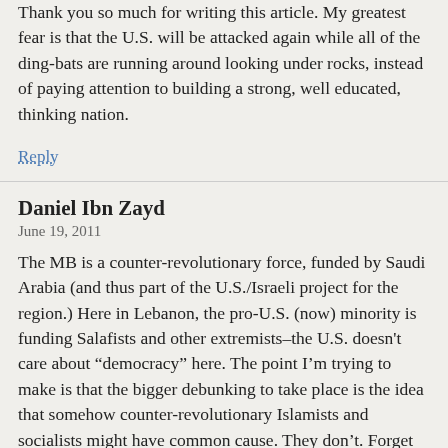Thank you so much for writing this article. My greatest fear is that the U.S. will be attacked again while all of the ding-bats are running around looking under rocks, instead of paying attention to building a strong, well educated, thinking nation.
Reply
Daniel Ibn Zayd
June 19, 2011
The MB is a counter-revolutionary force, funded by Saudi Arabia (and thus part of the U.S./Israeli project for the region.) Here in Lebanon, the pro-U.S. (now) minority is funding Salafists and other extremists–the U.S. doesn't care about “democracy” here. The point I’m trying to make is that the bigger debunking to take place is the idea that somehow counter-revolutionary Islamists and socialists might have common cause. They don’t. Forget Weiner and his NGO-obsessed wife. They are not problematic for their religious affiliation. They are problematic for their class position and dominance within the halls of power.